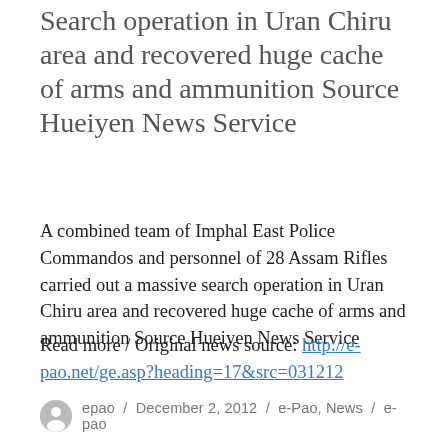Search operation in Uran Chiru area and recovered huge cache of arms and ammunition Source Hueiyen News Service
A combined team of Imphal East Police Commandos and personnel of 28 Assam Rifles carried out a massive search operation in Uran Chiru area and recovered huge cache of arms and ammunition Source Hueiyen News Service
Read more / Original news source: http://e-pao.net/ge.asp?heading=17&src=031212
epao / December 2, 2012 / e-Pao, News / e-pao